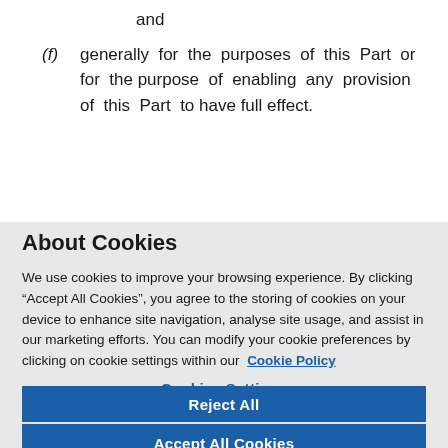and
(f) generally for the purposes of this Part or for the purpose of enabling any provision of this Part to have full effect.
About Cookies
We use cookies to improve your browsing experience. By clicking “Accept All Cookies”, you agree to the storing of cookies on your device to enhance site navigation, analyse site usage, and assist in our marketing efforts. You can modify your cookie preferences by clicking on cookie settings within our Cookie Policy
Cookies Settings
Reject All
Accept All Cookies